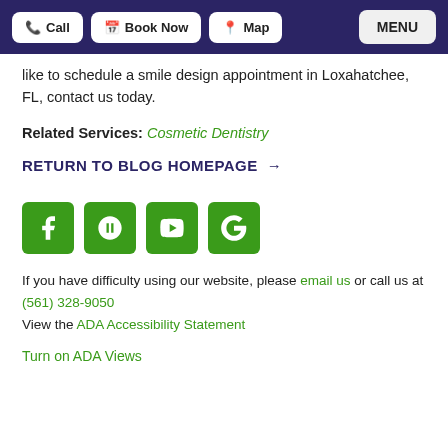Call | Book Now | Map | MENU
like to schedule a smile design appointment in Loxahatchee, FL, contact us today.
Related Services: Cosmetic Dentistry
RETURN TO BLOG HOMEPAGE →
[Figure (other): Social media icons: Facebook, Yelp, YouTube, Google — green square buttons]
If you have difficulty using our website, please email us or call us at (561) 328-9050
View the ADA Accessibility Statement
Turn on ADA Views